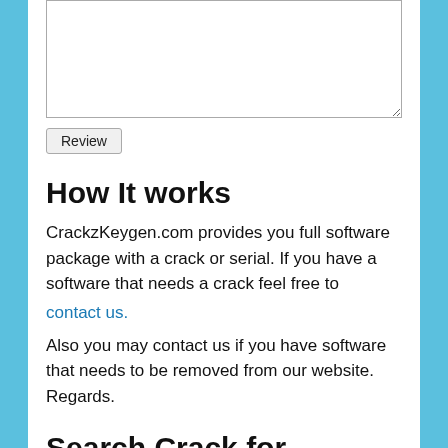[Figure (other): A textarea input box (empty, with resize handle)]
Review
How It works
CrackzKeygen.com provides you full software package with a crack or serial. If you have a software that needs a crack feel free to
contact us.
Also you may contact us if you have software that needs to be removed from our website. Regards.
Search Crack for
[Figure (screenshot): A search input box with a blue search button]